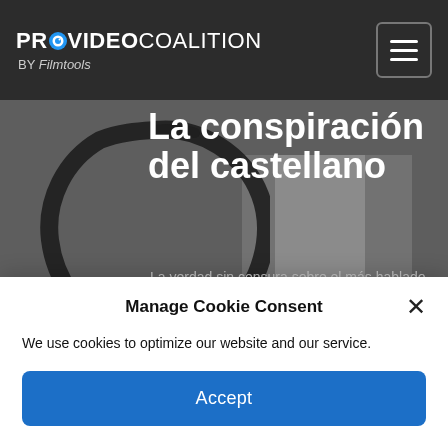PROVIDEO COALITION BY Filmtools
[Figure (screenshot): Hero image for article about 'La conspiración del castellano' — book cover partially visible on grey background with ink brush circle graphic. White bold title text: 'La conspiración del castellano' and grey subtitle: 'La verdad sin censura sobre el más hablado de los idiomas españoles']
Manage Cookie Consent
We use cookies to optimize our website and our service.
Accept